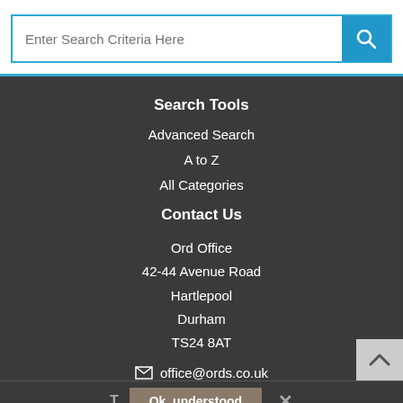Enter Search Criteria Here
Search Tools
Advanced Search
A to Z
All Categories
Contact Us
Ord Office
42-44 Avenue Road
Hartlepool
Durham
TS24 8AT
office@ords.co.uk
T  Ok, understood  ✕